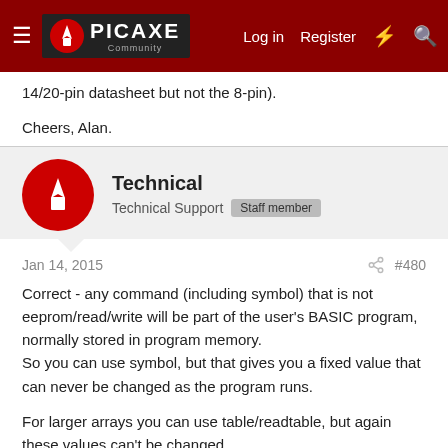PICAXE Community — Log in  Register
14/20-pin datasheet but not the 8-pin).
Cheers, Alan.
Technical
Technical Support  Staff member
Jan 14, 2015  #480
Correct - any command (including symbol) that is not eeprom/read/write will be part of the user's BASIC program, normally stored in program memory.
So you can use symbol, but that gives you a fixed value that can never be changed as the program runs.

For larger arrays you can use table/readtable, but again these values can't be changed.

For a changing value that you want to maintain between power